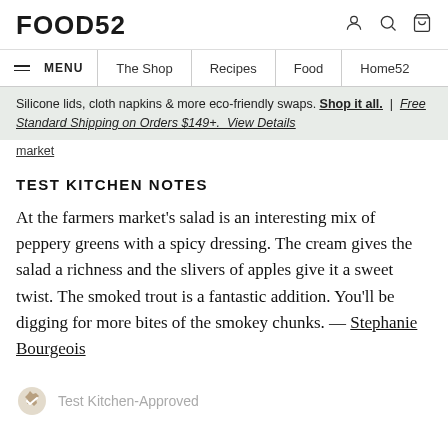FOOD52
≡ MENU | The Shop | Recipes | Food | Home52
Silicone lids, cloth napkins & more eco-friendly swaps. Shop it all. | Free Standard Shipping on Orders $149+. View Details
market
TEST KITCHEN NOTES
At the farmers market's salad is an interesting mix of peppery greens with a spicy dressing. The cream gives the salad a richness and the slivers of apples give it a sweet twist. The smoked trout is a fantastic addition. You'll be digging for more bites of the smokey chunks. — Stephanie Bourgeois
Test Kitchen-Approved